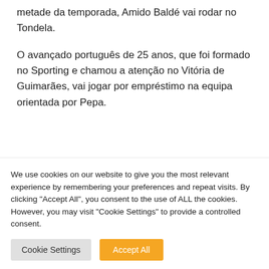metade da temporada, Amido Baldé vai rodar no Tondela.
O avançado português de 25 anos, que foi formado no Sporting e chamou a atenção no Vitória de Guimarães, vai jogar por empréstimo na equipa orientada por Pepa.
[Figure (screenshot): Embedded tweet card from CD Tondela (@CDTondela1933) with verified badge, Follow button, and Twitter bird icon.]
We use cookies on our website to give you the most relevant experience by remembering your preferences and repeat visits. By clicking "Accept All", you consent to the use of ALL the cookies. However, you may visit "Cookie Settings" to provide a controlled consent.